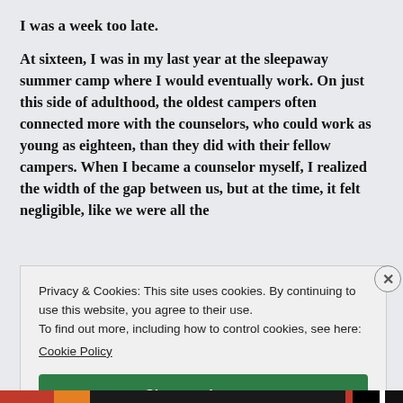I was a week too late.
At sixteen, I was in my last year at the sleepaway summer camp where I would eventually work. On just this side of adulthood, the oldest campers often connected more with the counselors, who could work as young as eighteen, than they did with their fellow campers. When I became a counselor myself, I realized the width of the gap between us, but at the time, it felt negligible, like we were all the
Privacy & Cookies: This site uses cookies. By continuing to use this website, you agree to their use.
To find out more, including how to control cookies, see here:
Cookie Policy
Close and accept